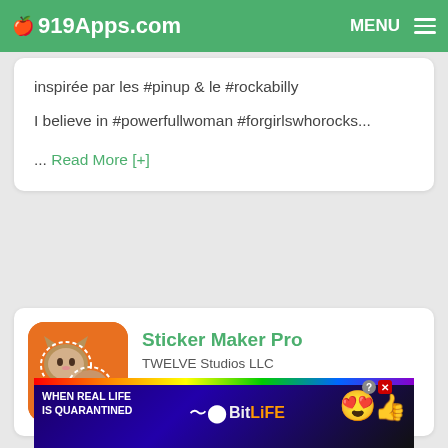919Apps.com  MENU
inspirée par les #pinup & le #rockabilly

I believe in #powerfullwoman #forgirlswhorocks...
... Read More [+]
[Figure (screenshot): App icon for Sticker Maker Pro showing a cat and man face sticker on orange background]
Sticker Maker Pro
TWELVE Studios LLC
DETAILS  FREE
[Figure (other): Advertisement banner: WHEN REAL LIFE IS QUARANTINED - BitLife app ad with rainbow and cartoon emoji]